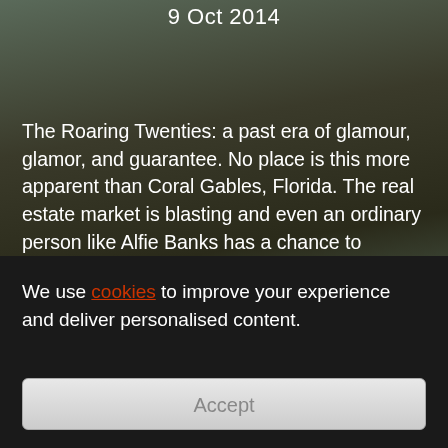9 Oct 2014
The Roaring Twenties: a past era of glamour, glamor, and guarantee. No place is this more apparent than Coral Gables, Florida. The real estate market is blasting and even an ordinary person like Alfie Banks has a chance to become super wealthy. Be that as it may, with the crowd on his back, the Great Depression not too far off, and the Sunshine State's ideal waterfront just a hurricane away
see all / fold
We use cookies to improve your experience and deliver personalised content.
Accept